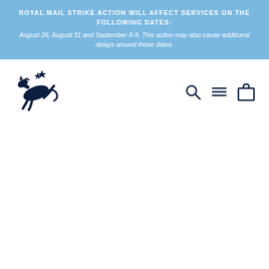ROYAL MAIL STRIKE ACTION WILL AFFECT SERVICES ON THE FOLLOWING DATES: August 26, August 31 and September 8-9. This action may also cause additional delays around these dates.
[Figure (logo): Jumping horse with star logo in dark navy blue]
[Figure (other): Navigation icons: search magnifier, hamburger menu, shopping bag]